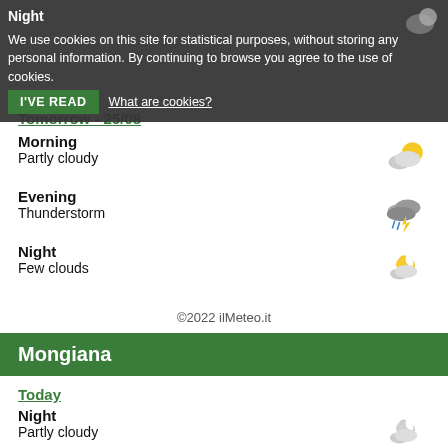Night
We use cookies on this site for statistical purposes, without storing any personal information. By continuing to browse you agree to the use of cookies. I'VE READ  What are cookies?
Tomorrow - 25/08
Morning
Partly cloudy
Evening
Thunderstorm
Night
Few clouds
©2022 ilMeteo.it
Mongiana
Today
Night
Partly cloudy
Tomorrow - 25/08
Morning
Sunny
Evening
Partly cloudy
Night
Partly cloudy